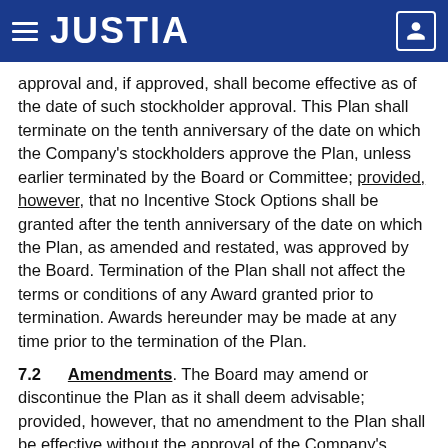JUSTIA
approval and, if approved, shall become effective as of the date of such stockholder approval. This Plan shall terminate on the tenth anniversary of the date on which the Company's stockholders approve the Plan, unless earlier terminated by the Board or Committee; provided, however, that no Incentive Stock Options shall be granted after the tenth anniversary of the date on which the Plan, as amended and restated, was approved by the Board. Termination of the Plan shall not affect the terms or conditions of any Award granted prior to termination. Awards hereunder may be made at any time prior to the termination of the Plan.
7.2 Amendments. The Board may amend or discontinue the Plan as it shall deem advisable; provided, however, that no amendment to the Plan shall be effective without the approval of the Company's stockholders if (i) stockholder approval is required by